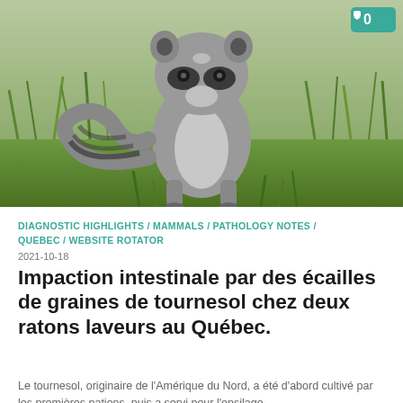[Figure (photo): A raccoon standing on grass, viewed from slightly below, with green vegetation in the background. A teal comment badge showing '0' is visible in the top-right corner.]
DIAGNOSTIC HIGHLIGHTS / MAMMALS / PATHOLOGY NOTES / QUEBEC / WEBSITE ROTATOR
2021-10-18
Impaction intestinale par des écailles de graines de tournesol chez deux ratons laveurs au Québec.
Le tournesol, originaire de l'Amérique du Nord, a été d'abord cultivé par les premières nations, puis a servi pour l'ensilage